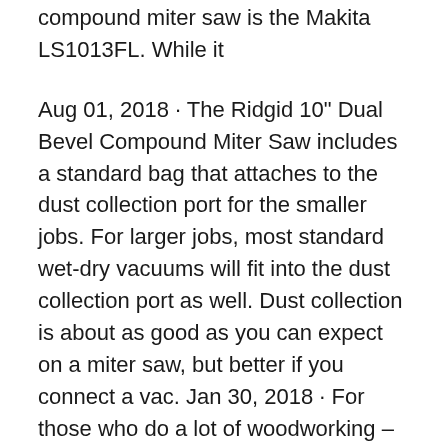compound miter saw is the Makita LS1013FL. While it
Aug 01, 2018 · The Ridgid 10" Dual Bevel Compound Miter Saw includes a standard bag that attaches to the dust collection port for the smaller jobs. For larger jobs, most standard wet-dry vacuums will fit into the dust collection port as well. Dust collection is about as good as you can expect on a miter saw, but better if you connect a vac. Jan 30, 2018 · For those who do a lot of woodworking – especially with larger stock – it's worth paying to upgrade to a sliding miter saw. In addition to rotating for miter cuts and swiveling for bevel cuts, the head on a sliding compound miter saw can move back and forth along a set of rails, significantly increasing